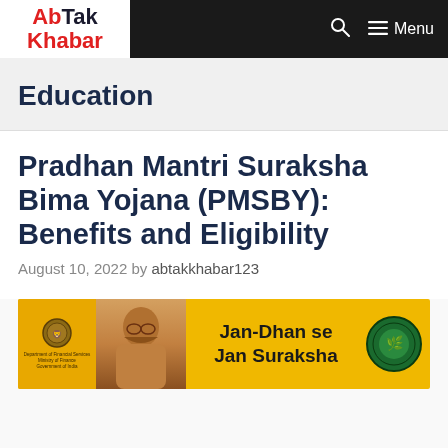AbTak Khabar — Menu
Education
Pradhan Mantri Suraksha Bima Yojana (PMSBY): Benefits and Eligibility
August 10, 2022 by abtakkhabar123
[Figure (photo): Jan-Dhan se Jan Suraksha government scheme banner with national emblem, Prime Minister photo, and scheme logo on yellow background]